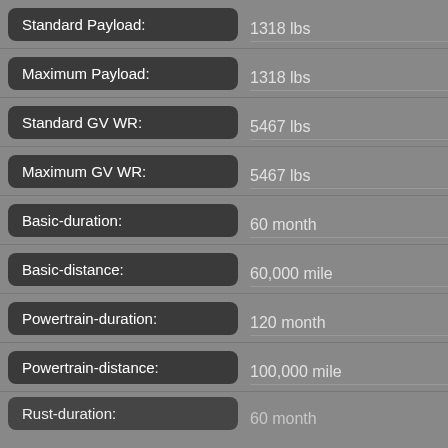| Field | Value |
| --- | --- |
| Standard Payload: | 1318 lbs |
| Maximum Payload: | 1318 lbs |
| Standard GV WR: | 5467 lbs |
| Maximum GV WR: | 5467 lbs |
| Basic-duration: | 60 month |
| Basic-distance: | 60,000 mile |
| Powertrain-duration: | 120 month |
| Powertrain-distance: | 100,000 mile |
| Rust-duration: | 60 month |